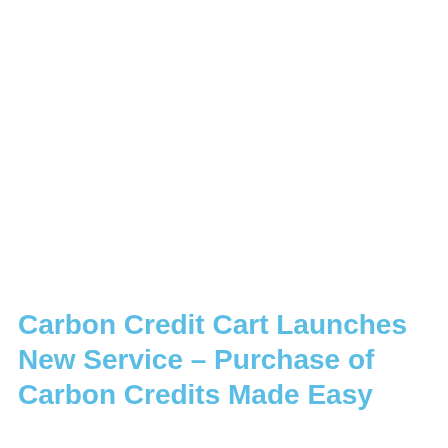Carbon Credit Cart Launches New Service – Purchase of Carbon Credits Made Easy